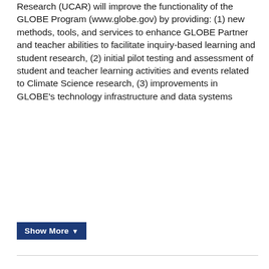Research (UCAR) will improve the functionality of the GLOBE Program (www.globe.gov) by providing: (1) new methods, tools, and services to enhance GLOBE Partner and teacher abilities to facilitate inquiry-based learning and student research, (2) initial pilot testing and assessment of student and teacher learning activities and events related to Climate Science research, (3) improvements in GLOBE's technology infrastructure and data systems
Show More ▼